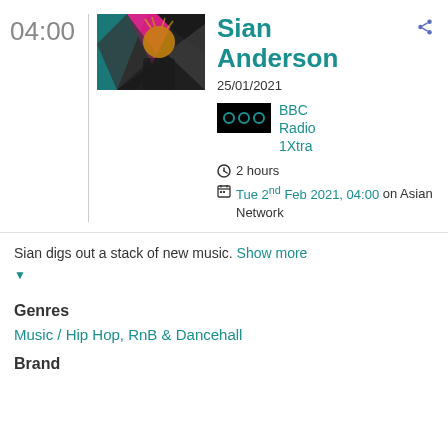04:00
[Figure (photo): Sian Anderson promotional photo with geometric colorful background (pink, teal, black)]
Sian Anderson
25/01/2021
[Figure (logo): BBC Radio 1Xtra logo - black box with teal dots]
BBC Radio 1Xtra
2 hours
Tue 2nd Feb 2021, 04:00 on Asian Network
Sian digs out a stack of new music. Show more
Genres
Music / Hip Hop, RnB & Dancehall
Brand